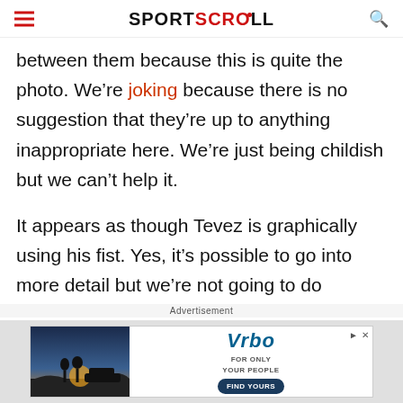SportScroll
between them because this is quite the photo. We’re joking because there is no suggestion that they’re up to anything inappropriate here. We’re just being childish but we can’t help it.
It appears as though Tevez is graphically using his fist. Yes, it’s possible to go into more detail but we’re not going to do
Advertisement
[Figure (photo): Vrbo advertisement banner showing two silhouetted figures watching a sunset, with Vrbo logo and 'For Only Your People' tagline with a 'Find Yours' button]